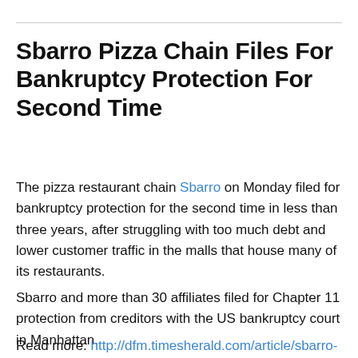Sbarro Pizza Chain Files For Bankruptcy Protection For Second Time
The pizza restaurant chain Sbarro on Monday filed for bankruptcy protection for the second time in less than three years, after struggling with too much debt and lower customer traffic in the malls that house many of its restaurants.
Sbarro and more than 30 affiliates filed for Chapter 11 protection from creditors with the US bankruptcy court in Manhattan.
Read more: http://dfm.timesherald.com/article/sbarro-